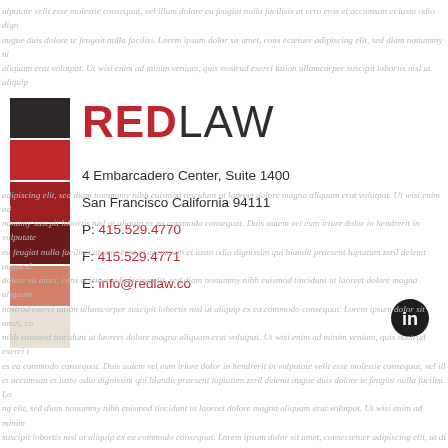ulputate velit esse molestie consequat, vel illum dolore eu feugiat nulla facilisis at vero eros et accumsan et iusto odio dignissim augue duis dolore te feugait nulla facilisi. Lorem ipsum dolor sit amet, consectetuer adipiscing elit, sed diam nonummy nibh aliquam erat volutpat. Ut wisi enim ad minim veniam, quis nostrud exerci tation ullamcorper suscipit lobortis nisl ut aliquip amet, consectetuer adipiscing elit, sed diam nonummy nibh euismod tincidunt ut laoreet dolore magna aliquam erat volut exerci tatinn ullamcorper suscipit lobortis nisl ut aliquip ex ea commodo consequat. Duis autem vel eum iriure dolor in he vel illum dolore eu feugiat nulla facilisis at vero eros et accumsan et iusto odio dignissim qui blandit praesent luptatum zzril Lorem ipsum dolor sit amet, cons ectetuer adipiscing elit, sed diam nonummy nibh euismod tincidunt ut laoreet dolore magn veniam, quis nostrud exerci tation ullamcorper suscipit lobortis nisl ut aliquip ex ea commodo consequat. Lorem ipsum dolo aliquam nibh euismod tincidunt ut laoreet dolore magna aliquam erat volutpat. Ut wisi enim ad minim veniam, quis
[Figure (illustration): Color swatches showing brand palette: dark charcoal, dark red/crimson, medium dark red, dark maroon, salmon/light red, light cream/beige]
REDLAW
4 Embarcadero Center, Suite 1400
San Francisco California 94111
P: 415.529.4770
F: 415.529.4771
E: info@redlaw.co
[Figure (logo): LinkedIn social media icon — black circle with white 'in' text]
adipiscing elit, sed diam nonummy nibh euismod tincidunt ut laoreet dolore magna aliquam erat volutpat. Ut wisi enim ad nonumy suscpit lobortis nisl ut aliquip ex ea commodo consequat. Duis autem vel eum iriure dolor in hendrerit in vulputate eu feugiat nulla facilisis at vero eros et accumsan et iusto odio dignissim qui blandit praesent luptatum zzril delenit augue dolore sit amet, cons ectetuer adipiscing elit, sed diam nonummy nibh euismod tincidunt ut laoreet dolore magna aliquam nostrod exerci tation ullamcorper suscipit lobortis nisl ut aliquip ex ea commodo consequat. Lorem ipsum dolor sit amet, nibh euismod tincidunt ut laoreet dolore magna aliquam erat volutpat. Ut wisi enim ad minim veniam, quis nostrud exerci t es ea commodo consequat. Duis autem vel eum iriure dolor in hendrerit in vulputate velit esse molestie consequat, vel ill et accumsan et iusto odio dignissim qui blandit praesent luptatum zzril delenit augue duis dolore te feugiat nulla facilisi. Lo ng elit, sed diam nonummy nibh euismod tincidunt ut laoreet dolore magna aliquam erat volutpat. Ut wisi enim ad minim suscipit lobortis nisl ut aliquip ex ea commodo consequat. Lorem ipsum dolor sit amet, consectetuer adipiscing elit, ut di